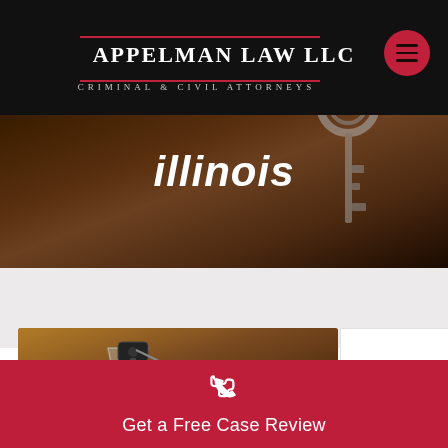[Figure (screenshot): Appelman Law LLC website header with black navigation bar, logo with red accent lines, hamburger menu button (red circle), hero section with background photo of keys, large italic bold text 'illinois' overlaid on hero image]
APPELMAN LAW LLC
CRIMINAL & CIVIL ATTORNEYS
illinois
[Figure (photo): Photo of car keys in a glass, suggesting DUI/drunk driving content, brown background]
Get a Free Case Review